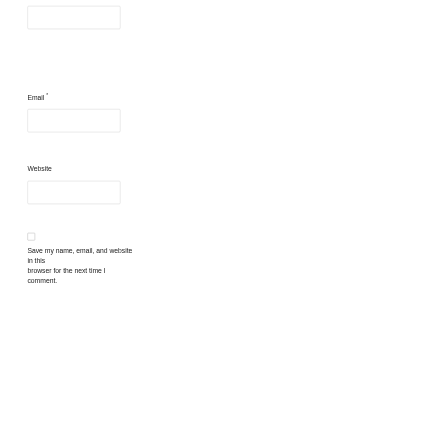[Figure (other): Empty text input box (no label visible, top of form)]
Email *
[Figure (other): Empty text input box for Email field]
Website
[Figure (other): Empty text input box for Website field]
[Figure (other): Unchecked checkbox]
Save my name, email, and website in this browser for the next time I comment.
[Figure (other): Submit button box (empty, bottom of form)]